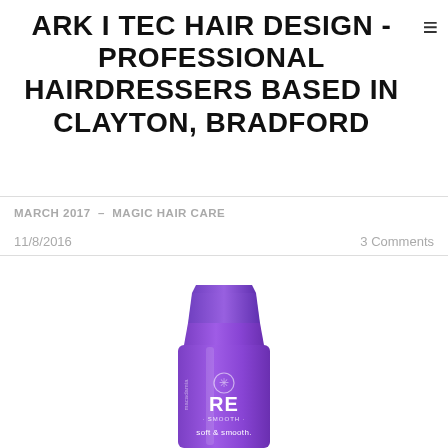ARK I TEC HAIR DESIGN - PROFESSIONAL HAIRDRESSERS BASED IN CLAYTON, BRADFORD
MARCH 2017 - MAGIC HAIR CARE
11/8/2016    3 Comments
[Figure (photo): Purple bottle of RE Smooth hair care product labeled 'soft & smooth', partially visible]